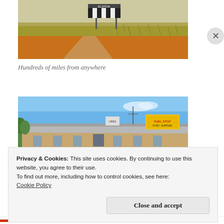[Figure (photo): Photo of a remote outback road with red dirt, dry grassland, and a black and white striped warning sign in the background under a pale sky.]
Hundreds of miles from anywhere
[Figure (photo): Photo of a low single-storey outback building with a corrugated iron roof under a bright blue sky, with an antenna and a yellow advertisement sign on the roof.]
Privacy & Cookies: This site uses cookies. By continuing to use this website, you agree to their use.
To find out more, including how to control cookies, see here: Cookie Policy
Close and accept